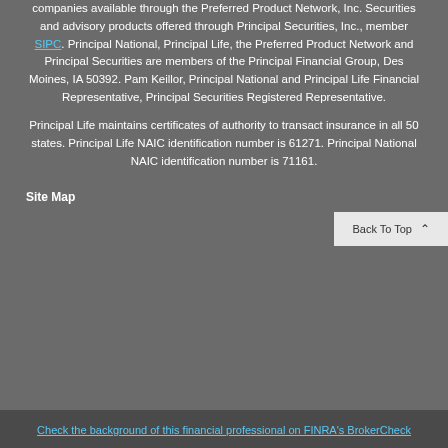companies available through the Preferred Product Network, Inc. Securities and advisory products offered through Principal Securities, Inc., member SIPC. Principal National, Principal Life, the Preferred Product Network and Principal Securities are members of the Principal Financial Group, Des Moines, IA 50392. Pam Keillor, Principal National and Principal Life Financial Representative, Principal Securities Registered Representative.
Principal Life maintains certificates of authority to transact insurance in all 50 states. Principal Life NAIC identification number is 61271. Principal National NAIC identification number is 71161.
Site Map
Check the background of this financial professional on FINRA's BrokerCheck